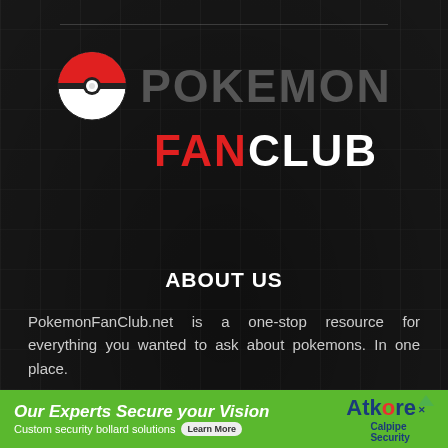[Figure (logo): Pokemon Fan Club logo with Pokeball icon on the left and POKEMON text in grey uppercase, FAN in red and CLUB in white below]
ABOUT US
PokemonFanClub.net is a one-stop resource for everything you wanted to ask about pokemons. In one place.
Contact us: contact@pokemonfanclub.net
[Figure (infographic): Green advertisement banner: Our Experts Secure your Vision - Custom security bollard solutions - Learn More button - Atkore Calpipe Security logo]